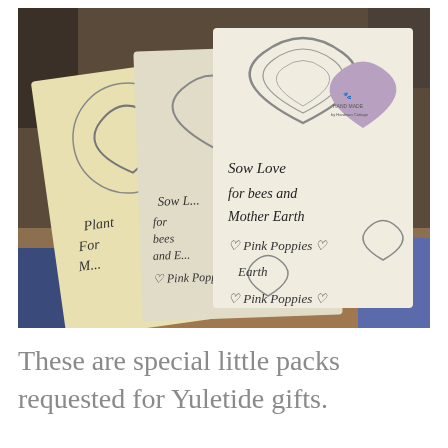[Figure (photo): A photograph of three handmade seed packet cards arranged on a wooden surface. The cards are cream/yellow colored with Celtic knotwork heart designs printed on them. Each card has a purple/lavender heart-shaped tag attached. The cards are handwritten with text reading 'Sow Love for bees and Mother Earth Pink Poppies' and 'Plant For M...' and similar. A 'Hand Made by Hardman Cottage' stamp is visible on the purple heart tag.]
These are special little packs requested for Yuletide gifts.